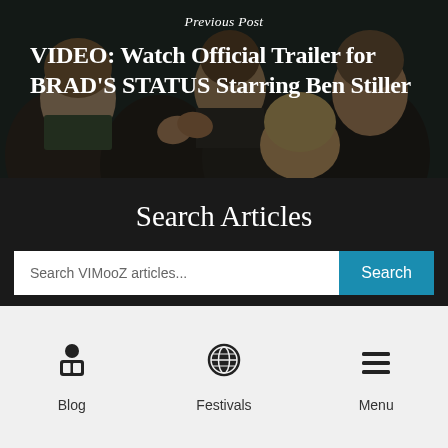[Figure (photo): Background photo of audience/crowd clapping in a dark theater setting]
Previous Post
VIDEO: Watch Official Trailer for BRAD'S STATUS Starring Ben Stiller
Search Articles
Search VIMooZ articles...
Search
Blog
Festivals
Menu